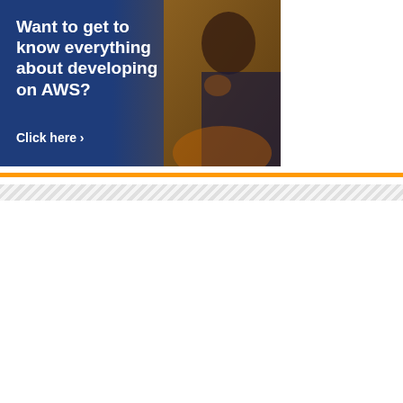[Figure (photo): AWS advertisement banner with dark blue/orange gradient background showing a man with glasses thinking, with text 'Want to get to know everything about developing on AWS? Click here ›']
[Figure (illustration): Job advertisement on teal background with text 'BORING </OLD JOB> <NEWJOB> AWESOME', WANTED section listing IT-Specialists, and a yellow 'Discover your new job' button. 'Generated by Feedzy' text in bottom right.]